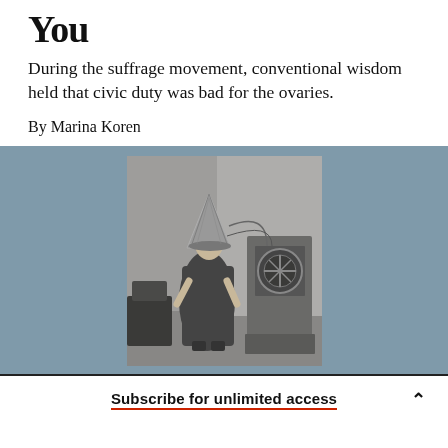You
During the suffrage movement, conventional wisdom held that civic duty was bad for the ovaries.
By Marina Koren
[Figure (photo): Black and white photograph of a person standing wearing a cone-shaped hat or helmet device on their head, with some kind of machine or apparatus visible to the right.]
Subscribe for unlimited access